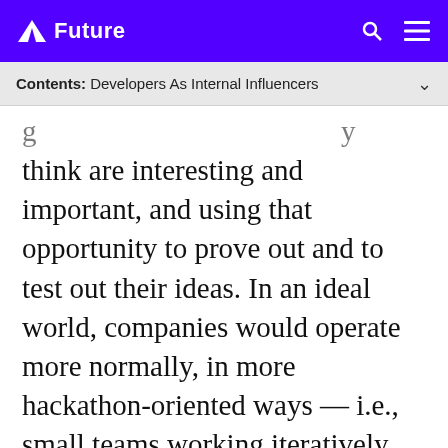Future
Contents: Developers As Internal Influencers
think are interesting and important, and using that opportunity to prove out and to test out their ideas. In an ideal world, companies would operate more normally, in more hackathon-oriented ways — i.e., small teams working iteratively, and being agile, and being tasked with problems not solutions. And a hackathon is a way to simulate that, for a short period of time, and at small scale.